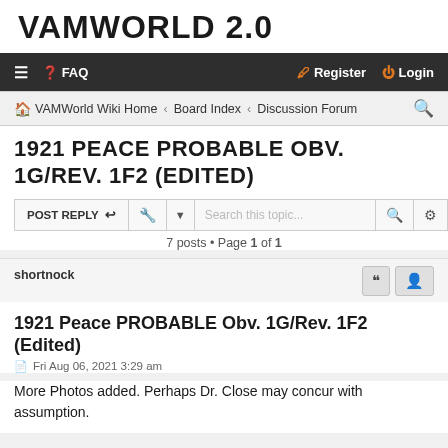VAMWORLD 2.0
≡  ❓ FAQ    ✎ Register  ⏻ Login
🏠 VAMWorld Wiki Home ‹ Board Index ‹ Discussion Forum 🔍
1921 PEACE PROBABLE OBV. 1G/REV. 1F2 (EDITED)
7 posts • Page 1 of 1
shortnock
1921 Peace PROBABLE Obv. 1G/Rev. 1F2 (Edited)
Fri Aug 06, 2021 3:29 am
More Photos added. Perhaps Dr. Close may concur with assumption.